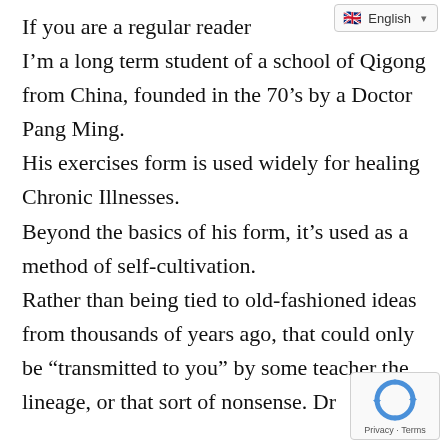If you are a regular reader
[Figure (screenshot): Language selector widget showing English with UK flag and dropdown arrow]
I'm a long term student of a school of Qigong from China, founded in the 70's by a Doctor Pang Ming. His exercises form is used widely for healing Chronic Illnesses. Beyond the basics of his form, it's used as a method of self-cultivation. Rather than being tied to old-fashioned ideas from thousands of years ago, that could only be “transmitted to you” by some teacher the lineage, or that sort of nonsense. Dr
[Figure (logo): reCAPTCHA logo widget with circular arrows icon and Privacy · Terms text]